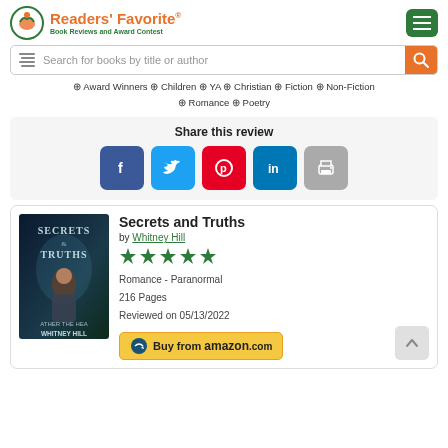Readers' Favorite - Book Reviews and Award Contest
Search for books by title or author
Award Winners
Children
YA
Christian
Fiction
Non-Fiction
Romance
Poetry
Share this review
Secrets and Truths
by Whitney Hill
★★★★★
Romance - Paranormal
216 Pages
Reviewed on 05/13/2022
Buy from amazon.com